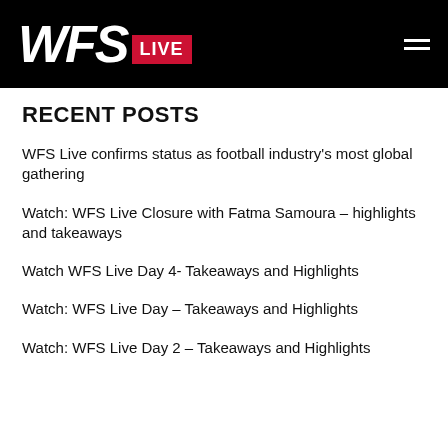WFS LIVE
RECENT POSTS
WFS Live confirms status as football industry’s most global gathering
Watch: WFS Live Closure with Fatma Samoura – highlights and takeaways
Watch WFS Live Day 4- Takeaways and Highlights
Watch: WFS Live Day – Takeaways and Highlights
Watch: WFS Live Day 2 – Takeaways and Highlights